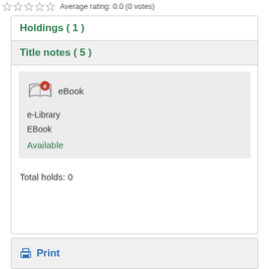Average rating: 0.0 (0 votes)
Holdings ( 1 )
Title notes ( 5 )
[Figure (illustration): eBook icon: open book with red circle containing letter e]
eBook
e-Library
EBook
Available
Total holds: 0
Print